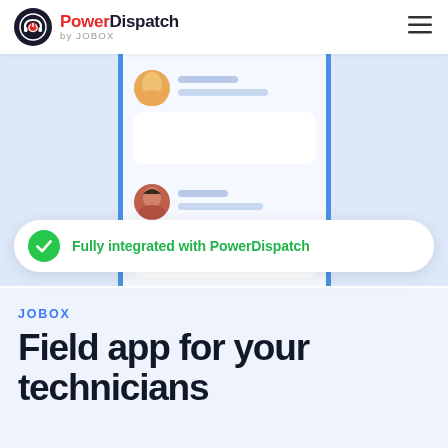PowerDispatch by JOBOX
[Figure (screenshot): App UI illustration showing a dispatch/field service list interface with two user entries (one with orange avatar and one with red/brown avatar), each with text placeholder lines and content cards, set against a light blue background with vertical blue accent bars on the sides.]
Fully integrated with PowerDispatch
JOBOX
Field app for your technicians